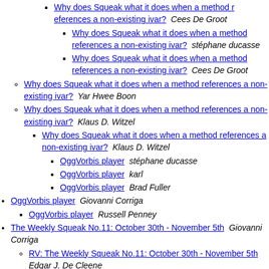Why does Squeak what it does when a method references a non-existing ivar? Cees De Groot
Why does Squeak what it does when a method references a non-existing ivar? stéphane ducasse
Why does Squeak what it does when a method references a non-existing ivar? Cees De Groot
Why does Squeak what it does when a method references a non-existing ivar? Yar Hwee Boon
Why does Squeak what it does when a method references a non-existing ivar? Klaus D. Witzel
Why does Squeak what it does when a method references a non-existing ivar? Klaus D. Witzel
OggVorbis player stéphane ducasse
OggVorbis player karl
OggVorbis player Brad Fuller
OggVorbis player Giovanni Corriga
OggVorbis player Russell Penney
The Weekly Squeak No.11: October 30th - November 5th Giovanni Corriga
RV: The Weekly Squeak No.11: October 30th - November 5th Edgar J. De Cleene
RV: The Weekly Squeak No.11: October 30th - November 5th German Arduino
RV: The Weekly Squeak No.11: October 30th - November 5th Lic. Edgar J. De Cleene